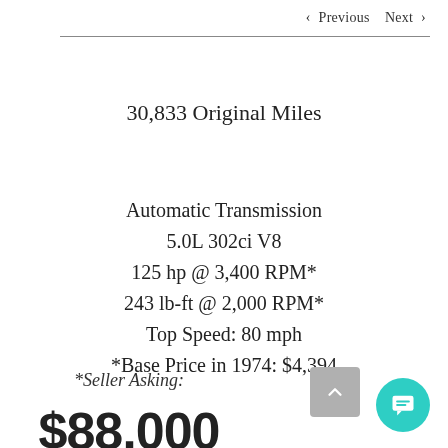< Previous   Next >
30,833 Original Miles
Automatic Transmission
5.0L 302ci V8
125 hp @ 3,400 RPM*
243 lb-ft @ 2,000 RPM*
Top Speed: 80 mph
*Base Price in 1974: $4,394
*Seller Asking:
$88,000 obo